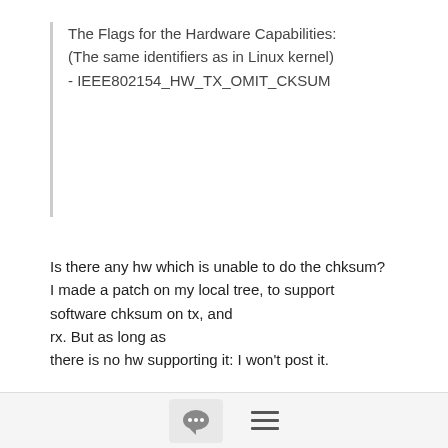The Flags for the Hardware Capabilities:
(The same identifiers as in Linux kernel)
- IEEE802154_HW_TX_OMIT_CKSUM
Is there any hw which is unable to do the chksum? I made a patch on my local tree, to support software chksum on tx, and rx. But as long as there is no hw supporting it: I won't post it.
ok I agree. What bothers me is the IEEE802154_MTU of 127, the frame length is 127 octets (including FCS field), should it not be 125?
It's a left-over. Just keep it that way. Drivers are setting the MTU